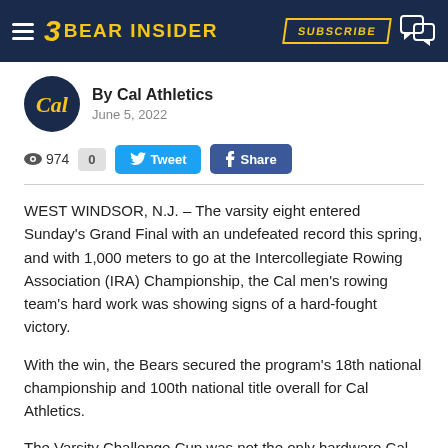3 BEAR INSIDER | SUBSCRIBE
By Cal Athletics
June 5, 2022
👁 974   0   Tweet   Share
WEST WINDSOR, N.J. – The varsity eight entered Sunday's Grand Final with an undefeated record this spring, and with 1,000 meters to go at the Intercollegiate Rowing Association (IRA) Championship, the Cal men's rowing team's hard work was showing signs of a hard-fought victory.
With the win, the Bears secured the program's 18th national championship and 100th national title overall for Cal Athletics.
The Varsity Challenge Cup was not the only hardware Cal took home. The Bears' second varsity eight won silver in